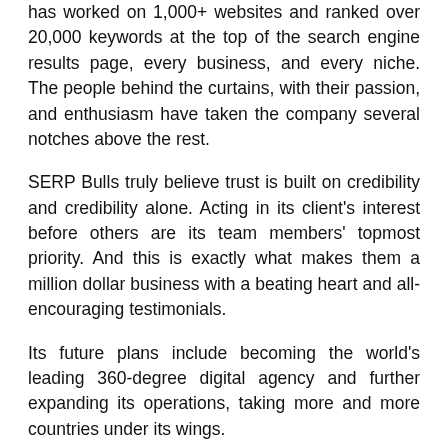has worked on 1,000+ websites and ranked over 20,000 keywords at the top of the search engine results page, every business, and every niche. The people behind the curtains, with their passion, and enthusiasm have taken the company several notches above the rest.
SERP Bulls truly believe trust is built on credibility and credibility alone. Acting in its client's interest before others are its team members' topmost priority. And this is exactly what makes them a million dollar business with a beating heart and all-encouraging testimonials.
Its future plans include becoming the world's leading 360-degree digital agency and further expanding its operations, taking more and more countries under its wings.
On what advice they would give to young, budding entrepreneurs, especially those looking to make a name in the field of Search Engine Optimisation, Vansh said, "You will keep taking hits and fall down. It is inevitable. Your